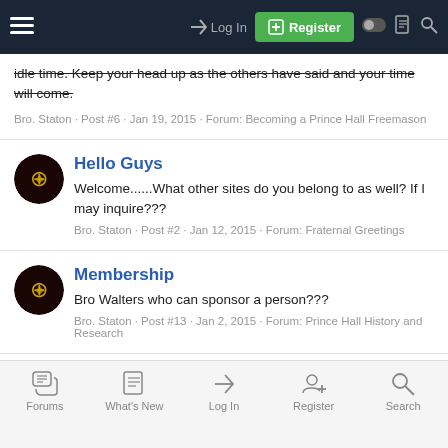Log In | Register
idle time. Keep your head up as the others have said and your time will come.
Bro. Staton · Post #6 · Jan 19, 2015 · Forum: Becoming a Prince Hall Freemason
Hello Guys
Welcome......What other sites do you belong to as well? If I may inquire???
Bro. Staton · Post #2 · Jan 12, 2015 · Forum: Fraternal Greetings
Membership
Bro Walters who can sponsor a person???
Bro. Staton · Post #13 · Jan 2, 2015 · Forum: Prince Hall History and Research
Forums | What's New | Log In | Register | Search